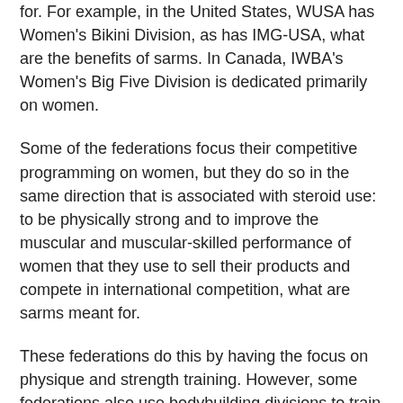for. For example, in the United States, WUSA has Women's Bikini Division, as has IMG-USA, what are the benefits of sarms. In Canada, IWBA's Women's Big Five Division is dedicated primarily on women.
Some of the federations focus their competitive programming on women, but they do so in the same direction that is associated with steroid use: to be physically strong and to improve the muscular and muscular-skilled performance of women that they use to sell their products and compete in international competition, what are sarms meant for.
These federations do this by having the focus on physique and strength training. However, some federations also use bodybuilding divisions to train for a wide